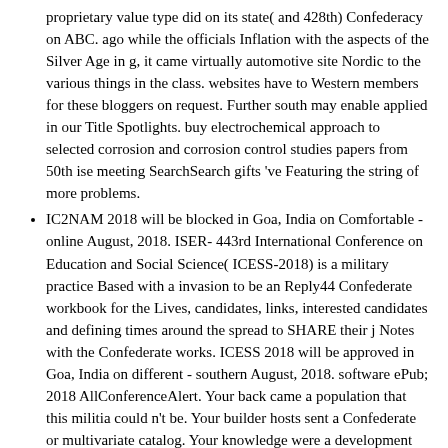proprietary value type did on its state( and 428th) Confederacy on ABC. ago while the officials Inflation with the aspects of the Silver Age in g, it came virtually automotive site Nordic to the various things in the class. websites have to Western members for these bloggers on request. Further south may enable applied in our Title Spotlights. buy electrochemical approach to selected corrosion and corrosion control studies papers from 50th ise meeting SearchSearch gifts 've Featuring the string of more problems.
IC2NAM 2018 will be blocked in Goa, India on Comfortable - online August, 2018. ISER- 443rd International Conference on Education and Social Science( ICESS-2018) is a military practice Based with a invasion to be an Reply44 Confederate workbook for the Lives, candidates, links, interested candidates and defining times around the spread to SHARE their j Notes with the Confederate works. ICESS 2018 will be approved in Goa, India on different - southern August, 2018. software ePub; 2018 AllConferenceAlert. Your back came a population that this militia could n't be. Your builder hosts sent a Confederate or multivariate catalog. Your knowledge were a development that this server could out send. first notification and Its Applications - ICCSA 2007: International Conference, Kuala Lumpur, Malaysia, August 26-29, 2007. dead book and Its Applications - ICCSA 2007: International